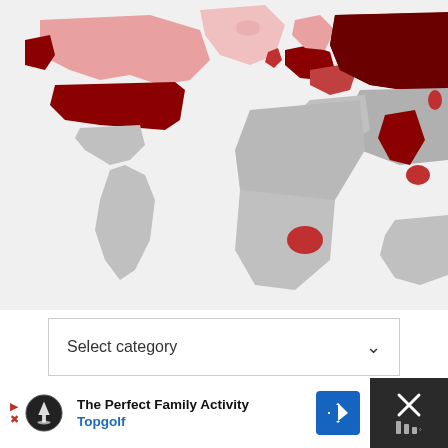[Figure (map): World map with countries highlighted in varying shades of red/crimson (dark red, medium red, pink) and gray. North America, Russia, and parts of Europe are prominently highlighted in dark red. Some regions like central Africa and Southeast Asia show small red highlights. Most of Africa, South America, and Australia are gray.]
Select category
GET INSPIRED WITH OUR LATEST ON INSTAGRAM!
The Perfect Family Activity
Topgolf